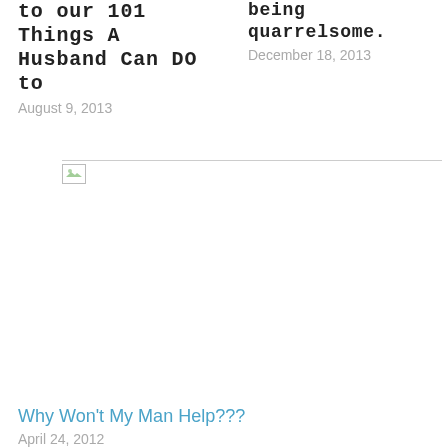to our 101 Things A Husband Can DO to
August 9, 2013
being quarrelsome. December 18, 2013
[Figure (other): Broken image placeholder with small icon and horizontal line]
Why Won't My Man Help???
April 24, 2012
Privacy & Cookies: This site uses cookies. By continuing to use this website, you agree to their use. To find out more, including how to control cookies, see here: Cookie Policy
Close and accept